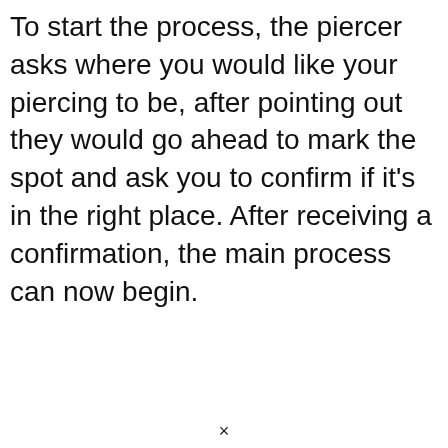To start the process, the piercer asks where you would like your piercing to be, after pointing out they would go ahead to mark the spot and ask you to confirm if it's in the right place. After receiving a confirmation, the main process can now begin.
×